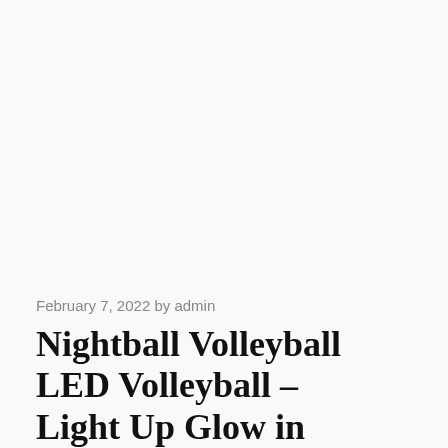February 7, 2022 by admin
Nightball Volleyball LED Volleyball – Light Up Glow in